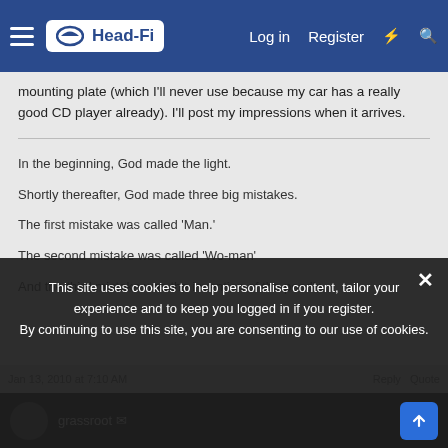Head-Fi | Log in | Register
mounting plate (which I'll never use because my car has a really good CD player already). I'll post my impressions when it arrives.
In the beginning, God made the light.
Shortly thereafter, God made three big mistakes.
The first mistake was called 'Man.'
The second mistake was called 'Wo-man'
And the third mistake was the invention of the poodle.
This site uses cookies to help personalise content, tailor your experience and to keep you logged in if you register. By continuing to use this site, you are consenting to our use of cookies.
grassroot